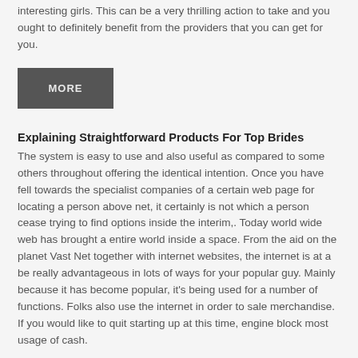interesting girls. This can be a very thrilling action to take and you ought to definitely benefit from the providers that you can get for you.
[Figure (other): Dark grey button labeled MORE]
Explaining Straightforward Products For Top Brides
The system is easy to use and also useful as compared to some others throughout offering the identical intention. Once you have fell towards the specialist companies of a certain web page for locating a person above net, it certainly is not which a person cease trying to find options inside the interim,. Today world wide web has brought a entire world inside a space. From the aid on the planet Vast Net together with internet websites, the internet is at a be really advantageous in lots of ways for your popular guy. Mainly because it has become popular, it's being used for a number of functions. Folks also use the internet in order to sale merchandise. If you would like to quit starting up at this time, engine block most usage of cash.
You are able to search for top web pages offering garments on the web with the assistance of greatest search engines like google. Across